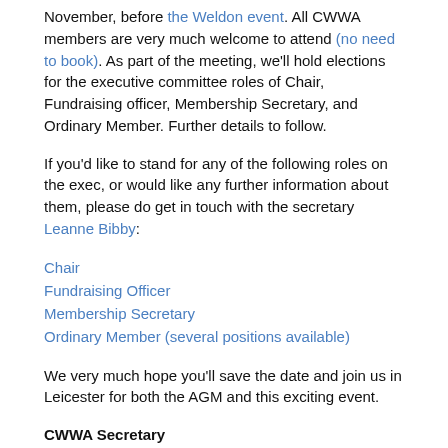November, before the Weldon event. All CWWA members are very much welcome to attend (no need to book). As part of the meeting, we'll hold elections for the executive committee roles of Chair, Fundraising officer, Membership Secretary, and Ordinary Member. Further details to follow.
If you'd like to stand for any of the following roles on the exec, or would like any further information about them, please do get in touch with the secretary Leanne Bibby:
Chair
Fundraising Officer
Membership Secretary
Ordinary Member (several positions available)
We very much hope you'll save the date and join us in Leicester for both the AGM and this exciting event.
CWWA Secretary
Leanne Bibby